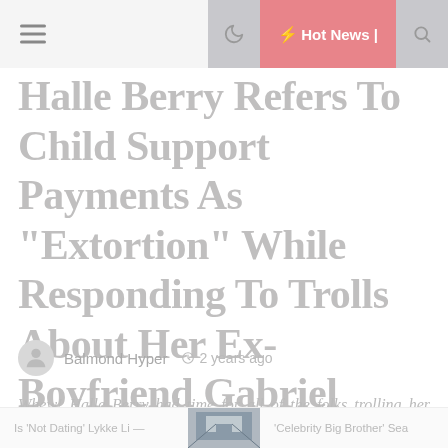≡  Hot News |
Halle Berry Refers To Child Support Payments As “Extortion” While Responding To Trolls About Her Ex-Boyfriend Gabriel Aubry
Balmond Hyper   2 years ago
Whew! Halle Berry had time for all of the folks trolling her comment section under a recent post empowering
Is 'Not Dating' Lykke Li —   'Celebrity Big Brother' Sea